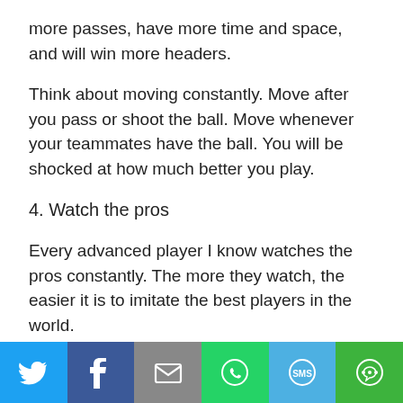more passes, have more time and space, and will win more headers.
Think about moving constantly. Move after you pass or shoot the ball. Move whenever your teammates have the ball. You will be shocked at how much better you play.
4. Watch the pros
Every advanced player I know watches the pros constantly. The more they watch, the easier it is to imitate the best players in the world.
Watching soccer is easy, but it can have a huge impact on your game. Imitate the pros and you